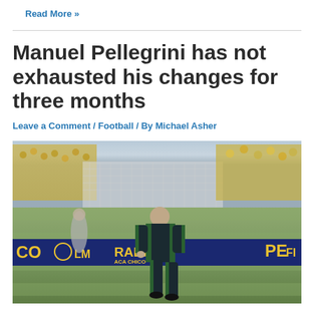Read More »
Manuel Pellegrini has not exhausted his changes for three months
Leave a Comment / Football / By Michael Asher
[Figure (photo): Manuel Pellegrini walking on a football pitch sideline in a dark green and black tracksuit, with stadium ad boards reading CO, LM, RABA, PE in yellow on dark blue background, crowd visible in the background]